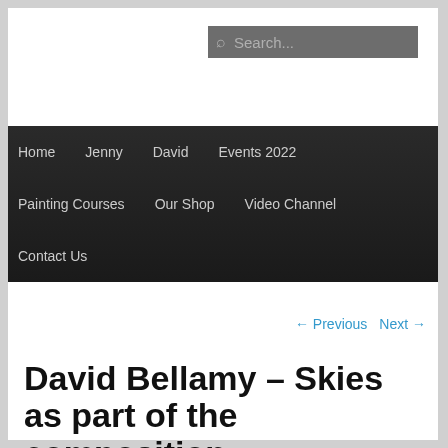[Figure (screenshot): Search box with magnifying glass icon on grey background]
Home  Jenny  David  Events 2022  Painting Courses  Our Shop  Video Channel  Contact Us
← Previous   Next →
David Bellamy – Skies as part of the composition